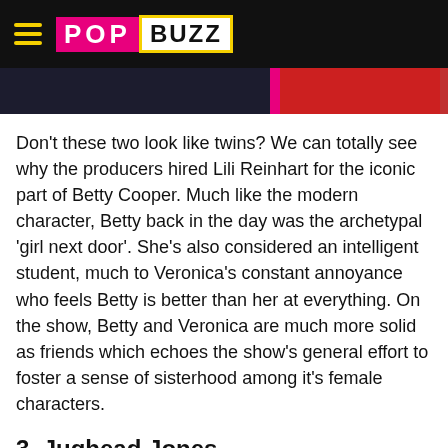POPBUZZ
[Figure (photo): Two image panels side by side — left panel shows a dark scene, right panel shows a red/orange toned scene, both partially cropped at the top of the article.]
Don't these two look like twins? We can totally see why the producers hired Lili Reinhart for the iconic part of Betty Cooper. Much like the modern character, Betty back in the day was the archetypal 'girl next door'. She's also considered an intelligent student, much to Veronica's constant annoyance who feels Betty is better than her at everything. On the show, Betty and Veronica are much more solid as friends which echoes the show's general effort to foster a sense of sisterhood among it's female characters.
3. Jughead Jones